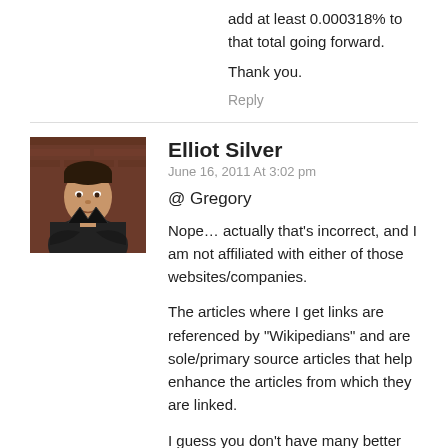add at least 0.000318% to that total going forward.
Thank you.
Reply
[Figure (photo): Avatar photo of Elliot Silver, a man in a dark suit with arms crossed, against a brick background]
Elliot Silver
June 16, 2011 At 3:02 pm
@ Gregory
Nope… actually that's incorrect, and I am not affiliated with either of those websites/companies.
The articles where I get links are referenced by "Wikipedians" and are sole/primary source articles that help enhance the articles from which they are linked.
I guess you don't have many better things to do than to try to find links to whatever sites I am referring to. Well, go right ahead and take up your time on this